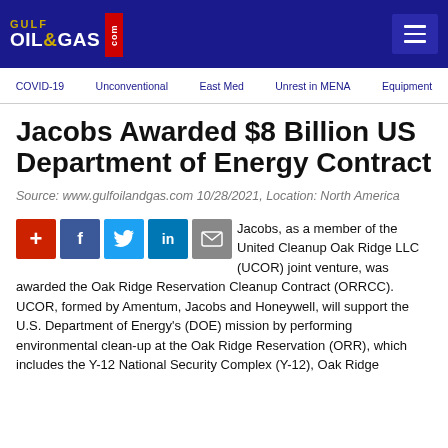Gulf Oil & Gas .com
COVID-19  Unconventional  East Med  Unrest in MENA  Equipment
Jacobs Awarded $8 Billion US Department of Energy Contract
Source: www.gulfoilandgas.com 10/28/2021, Location: North America
Jacobs, as a member of the United Cleanup Oak Ridge LLC (UCOR) joint venture, was awarded the Oak Ridge Reservation Cleanup Contract (ORRCC). UCOR, formed by Amentum, Jacobs and Honeywell, will support the U.S. Department of Energy's (DOE) mission by performing environmental clean-up at the Oak Ridge Reservation (ORR), which includes the Y-12 National Security Complex (Y-12), Oak Ridge